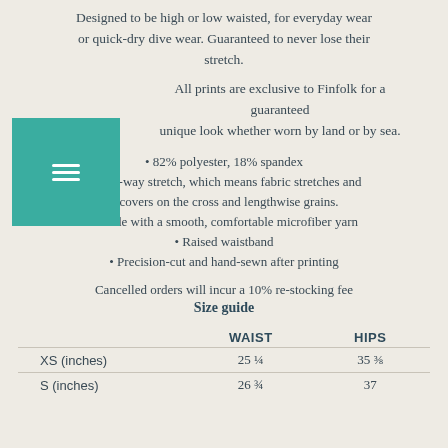Designed to be high or low waisted, for everyday wear or quick-dry dive wear. Guaranteed to never lose their stretch.
All prints are exclusive to Finfolk for a guaranteed unique look whether worn by land or by sea.
82% polyester, 18% spandex
Four-way stretch, which means fabric stretches and recovers on the cross and lengthwise grains.
Made with a smooth, comfortable microfiber yarn
Raised waistband
Precision-cut and hand-sewn after printing
Cancelled orders will incur a 10% re-stocking fee
Size guide
|  | WAIST | HIPS |
| --- | --- | --- |
| XS (inches) | 25 ¼ | 35 ⅜ |
| S (inches) | 26 ¾ | 37 |